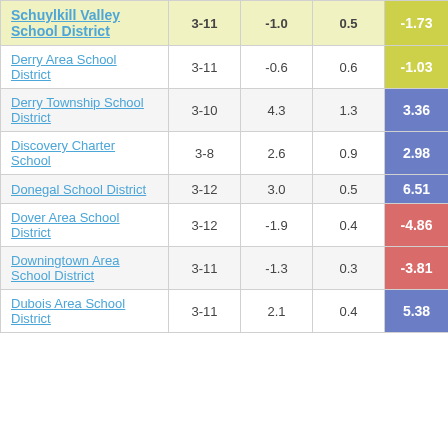| School District | Grades | Col3 | Col4 | Score |
| --- | --- | --- | --- | --- |
| Schuylkill Valley School District | 3-11 | -1.0 | 0.5 | -1.73 |
| Derry Area School District | 3-11 | -0.6 | 0.6 | -1.03 |
| Derry Township School District | 3-10 | 4.3 | 1.3 | 3.36 |
| Discovery Charter School | 3-8 | 2.6 | 0.9 | 2.98 |
| Donegal School District | 3-12 | 3.0 | 0.5 | 6.51 |
| Dover Area School District | 3-12 | -1.9 | 0.4 | -4.86 |
| Downingtown Area School District | 3-11 | -1.3 | 0.3 | -3.81 |
| Dubois Area School District | 3-11 | 2.1 | 0.4 | 5.38 |